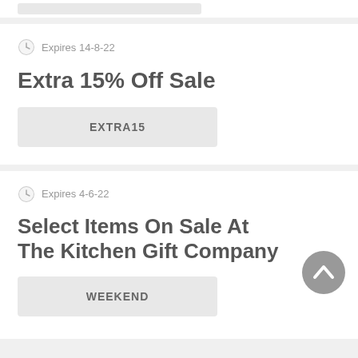Expires 14-8-22
Extra 15% Off Sale
EXTRA15
Expires 4-6-22
Select Items On Sale At The Kitchen Gift Company
WEEKEND